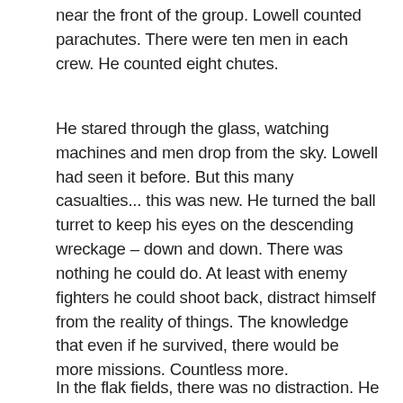near the front of the group. Lowell counted parachutes. There were ten men in each crew. He counted eight chutes.
He stared through the glass, watching machines and men drop from the sky. Lowell had seen it before. But this many casualties... this was new. He turned the ball turret to keep his eyes on the descending wreckage – down and down. There was nothing he could do. At least with enemy fighters he could shoot back, distract himself from the reality of things. The knowledge that even if he survived, there would be more missions. Countless more.
In the flak fields, there was no distraction. He